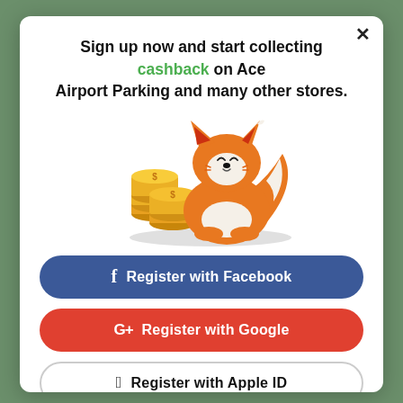Sign up now and start collecting cashback on Ace Airport Parking and many other stores.
[Figure (illustration): An orange cartoon fox sitting next to a stack of gold coins with dollar signs on them, on a light grey oval shadow base.]
f  Register with Facebook
G+  Register with Google
Register with Apple ID